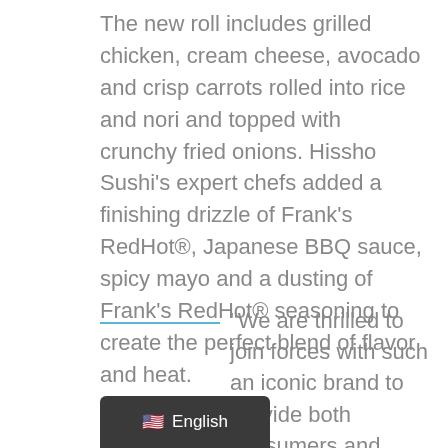The new roll includes grilled chicken, cream cheese, avocado and crisp carrots rolled into rice and nori and topped with crunchy fried onions. Hissho Sushi's expert chefs added a finishing drizzle of Frank's RedHot®, Japanese BBQ sauce, spicy mayo and a dusting of Frank's RedHot® seasoning to create the perfect blend of flavor and heat.
“We are thrilled to join forces with such an iconic brand to provide both consumers and retailers with a new innovative